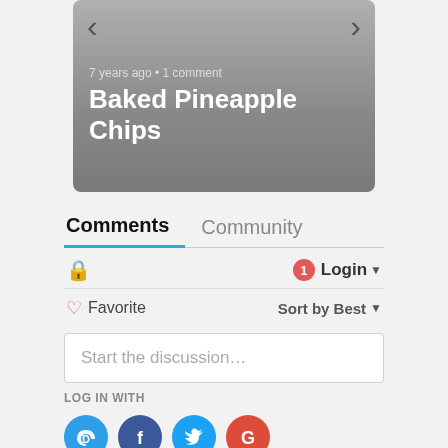[Figure (screenshot): Blog post card with navigation arrows showing 'Baked Pineapple Chips' post, 7 years ago, 1 comment, on a gray gradient background]
7 years ago • 1 comment
Baked Pineapple Chips
Comments  Community
❤ Favorite   Sort by Best ▾
Start the discussion…
LOG IN WITH
[Figure (infographic): Social login icons: Disqus (blue), Facebook (dark blue), Twitter (light blue), Google (red)]
OR SIGN UP WITH DISQUS